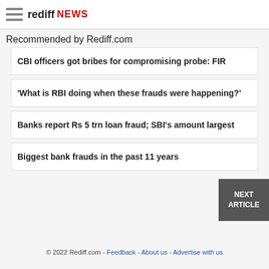rediff NEWS
Recommended by Rediff.com
CBI officers got bribes for compromising probe: FIR
'What is RBI doing when these frauds were happening?'
Banks report Rs 5 trn loan fraud; SBI's amount largest
Biggest bank frauds in the past 11 years
© 2022 Rediff.com - Feedback - About us - Advertise with us